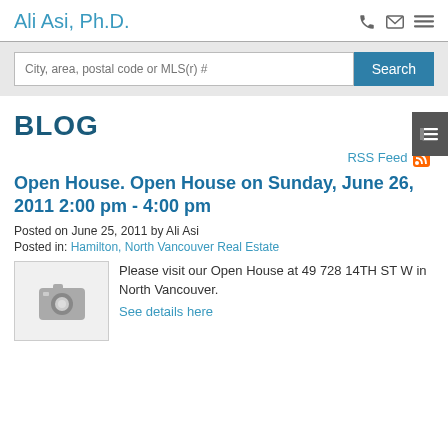Ali Asi, Ph.D.
[Figure (screenshot): Search bar with text 'City, area, postal code or MLS(r) #' and a blue Search button]
BLOG
RSS Feed
Open House. Open House on Sunday, June 26, 2011 2:00 pm - 4:00 pm
Posted on June 25, 2011  by Ali Asi
Posted in: Hamilton, North Vancouver Real Estate
[Figure (photo): Placeholder camera icon image]
Please visit our Open House at 49 728 14TH ST W in North Vancouver.
See details here